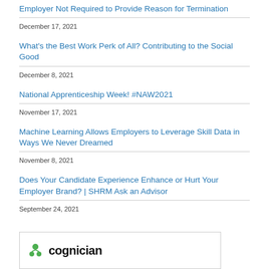Employer Not Required to Provide Reason for Termination
December 17, 2021
What's the Best Work Perk of All? Contributing to the Social Good
December 8, 2021
National Apprenticeship Week! #NAW2021
November 17, 2021
Machine Learning Allows Employers to Leverage Skill Data in Ways We Never Dreamed
November 8, 2021
Does Your Candidate Experience Enhance or Hurt Your Employer Brand? | SHRM Ask an Advisor
September 24, 2021
[Figure (logo): Cogniron or similar company logo with green icon and bold black text]